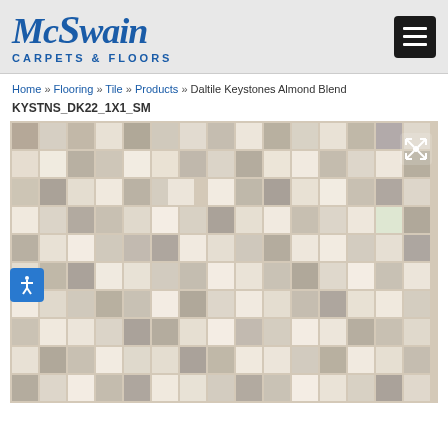McSwain Carpets & Floors
Home » Flooring » Tile » Products » Daltile Keystones Almond Blend KYSTNS_DK22_1X1_SM
[Figure (photo): Close-up product photo of Daltile Keystones Almond Blend tile pattern showing a mosaic of small square tiles in various shades of beige, cream, and warm gray arranged in a random pattern.]